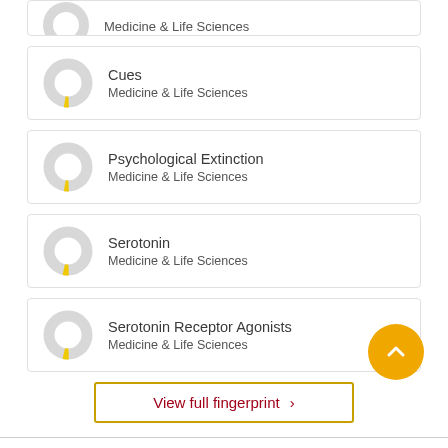[Figure (donut-chart): Partial donut chart for Medicine & Life Sciences (cropped at top)]
[Figure (donut-chart): Small donut chart icon for Cues, Medicine & Life Sciences]
Cues
Medicine & Life Sciences
[Figure (donut-chart): Small donut chart icon for Psychological Extinction, Medicine & Life Sciences]
Psychological Extinction
Medicine & Life Sciences
[Figure (donut-chart): Small donut chart icon for Serotonin, Medicine & Life Sciences]
Serotonin
Medicine & Life Sciences
[Figure (donut-chart): Small donut chart icon for Serotonin Receptor Agonists, Medicine & Life Sciences]
Serotonin Receptor Agonists
Medicine & Life Sciences
View full fingerprint >
Cite this
APA